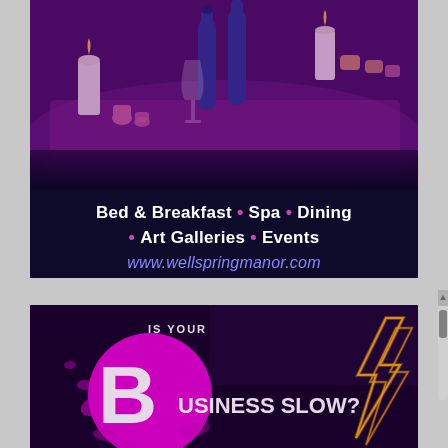[Figure (photo): Dining table set with blue wine bottles, candles, glassware, and place settings, with a purple/magenta color tint overlay]
Bed & Breakfast • Spa • Dining • Art Galleries • Events
www.wellspringmanor.com
[Figure (infographic): Dark purple advertisement with magenta circle and large letter B, text reading 'IS YOUR BUSINESS SLOW?' with yellow lightning bolt graphic]